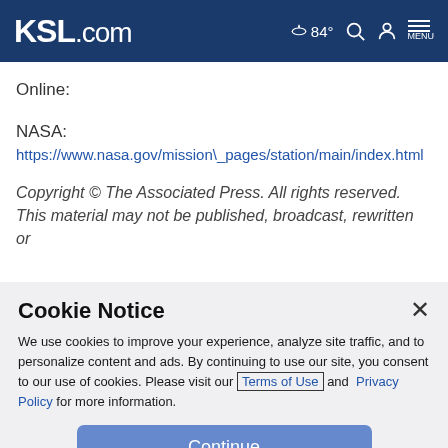KSL.com — 84° MENU
Online:
NASA:
https://www.nasa.gov/mission\_pages/station/main/index.html
Copyright © The Associated Press. All rights reserved. This material may not be published, broadcast, rewritten or
Cookie Notice
We use cookies to improve your experience, analyze site traffic, and to personalize content and ads. By continuing to use our site, you consent to our use of cookies. Please visit our Terms of Use and Privacy Policy for more information.
Continue